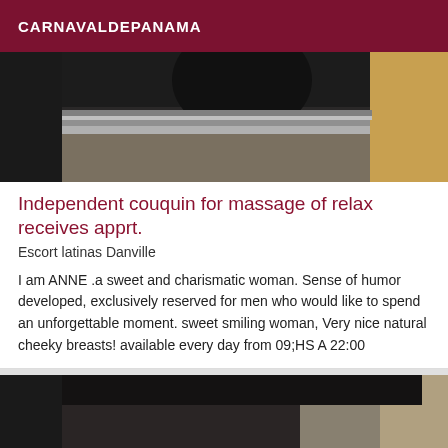CARNAVALDEPANAMA
[Figure (photo): Partial indoor photo showing a reflective surface, dark silhouette and warm-toned background]
Independent couquin for massage of relax receives apprt.
Escort latinas Danville
I am ANNE .a sweet and charismatic woman. Sense of humor developed, exclusively reserved for men who would like to spend an unforgettable moment. sweet smiling woman, Very nice natural cheeky breasts! available every day from 09;HS A 22:00
[Figure (photo): Partial indoor photo showing dark hair and room interior]